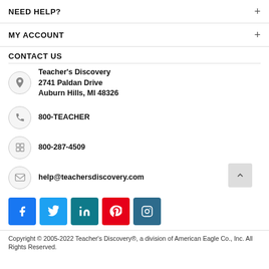NEED HELP?
MY ACCOUNT
CONTACT US
Teacher's Discovery
2741 Paldan Drive
Auburn Hills, MI 48326
800-TEACHER
800-287-4509
help@teachersdiscovery.com
[Figure (infographic): Social media icons row: Facebook (blue), Twitter (light blue), LinkedIn (teal), Pinterest (red), Instagram (dark blue)]
Copyright © 2005-2022 Teacher's Discovery®, a division of American Eagle Co., Inc. All Rights Reserved.